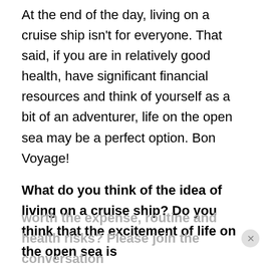At the end of the day, living on a cruise ship isn't for everyone. That said, if you are in relatively good health, have significant financial resources and think of yourself as a bit of an adventurer, life on the open sea may be a perfect option. Bon Voyage!
What do you think of the idea of living on a cruise ship? Do you think that the excitement of life on the open sea is worth the expense, routine and health risks? Please join the conversation